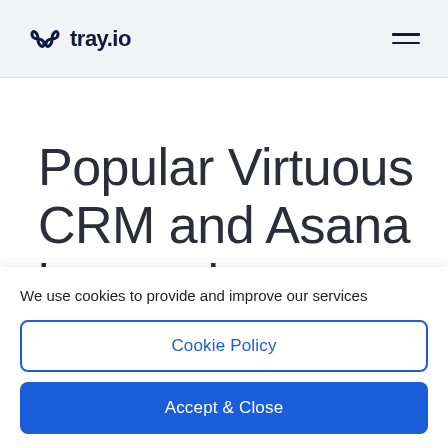tray.io
Popular Virtuous CRM and Asana intearations
We use cookies to provide and improve our services
Cookie Policy
Accept & Close